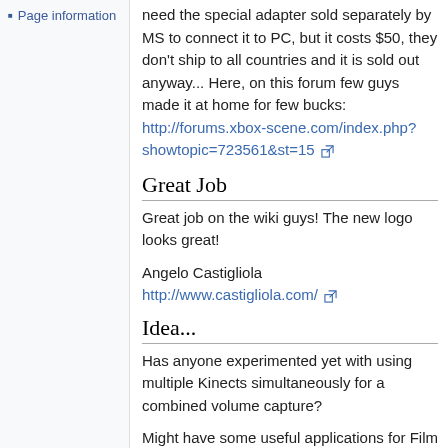Page information
need the special adapter sold separately by MS to connect it to PC, but it costs $50, they don't ship to all countries and it is sold out anyway... Here, on this forum few guys made it at home for few bucks: http://forums.xbox-scene.com/index.php?showtopic=723561&st=15
Great Job
Great job on the wiki guys! The new logo looks great!
Angelo Castigliola
http://www.castigliola.com/
Idea...
Has anyone experimented yet with using multiple Kinects simultaneously for a combined volume capture?
Might have some useful applications for Film / Visual Effects. If you had multiple cameras and the means to calibrate them so they're aligned for the same volume, you could fill in most of